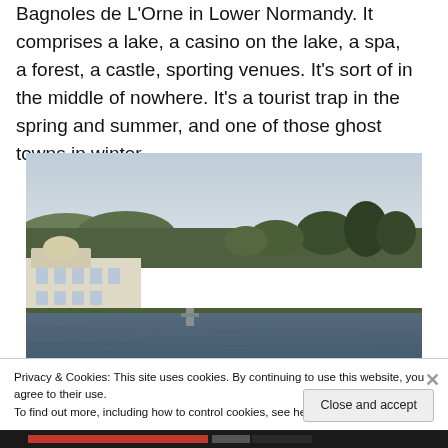Bagnoles de L'Orne in Lower Normandy.  It comprises a lake, a casino on the lake, a spa, a forest, a castle, sporting venues.  It's sort of in the middle of nowhere.  It's a tourist trap in the spring and summer, and one of those ghost towns in winter.
[Figure (photo): Panoramic photo of a lake with a large white building/casino on the left shore, surrounded by bare winter trees, with grey overcast sky reflected in the water.]
Privacy & Cookies: This site uses cookies. By continuing to use this website, you agree to their use.
To find out more, including how to control cookies, see here: Cookie Policy